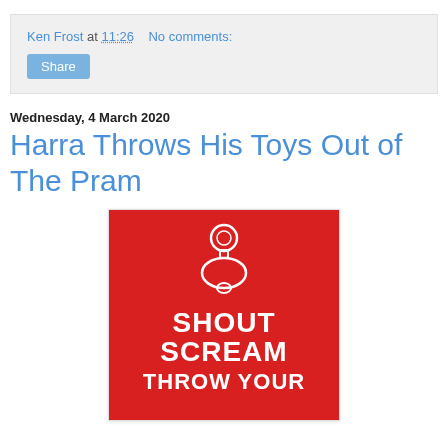Ken Frost at 11:26    No comments:
Share
Wednesday, 4 March 2020
Harra Throws His Toys Out of The Pram
[Figure (illustration): Red background image with outline of a baby pacifier/dummy and bold white text reading SHOUT SCREAM THROW YOUR...]